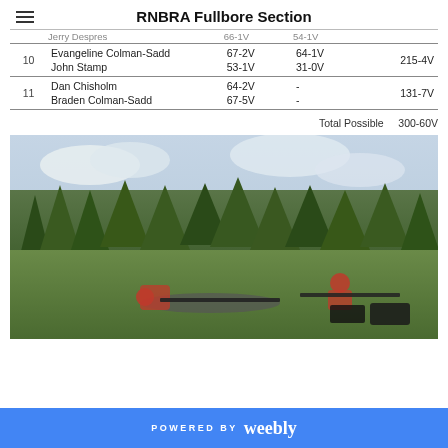RNBRA Fullbore Section
| # | Name | Score 1 | Score 2 | Total |
| --- | --- | --- | --- | --- |
|  | Jerry Despres | 66-1V | 54-1V |  |
| 10 | Evangeline Colman-Sadd | 67-2V | 64-1V | 215-4V |
| 10 | John Stamp | 53-1V | 31-0V | 215-4V |
| 11 | Dan Chisholm | 64-2V | - | 131-7V |
| 11 | Braden Colman-Sadd | 67-5V | - | 131-7V |
Total Possible   300-60V
[Figure (photo): Outdoor shooting range scene showing multiple shooters in prone position on grass, with rifles, trees in background and cloudy sky]
POWERED BY weebly